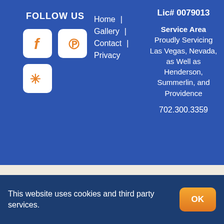FOLLOW US
[Figure (illustration): Social media icons: Facebook (f), Pinterest (p), and Yelp (asterisk/flower) as white rounded square buttons on blue background]
Home |
Gallery |
Contact |
Privacy
Lic# 0079013
Service Area
Proudly Servicing Las Vegas, Nevada, as Well as Henderson, Summerlin, and Providence
702.300.3359
© Copyright 2019 - 2022 | RAM Painting LLC | All Rights
This website uses cookies and third party services.
OK